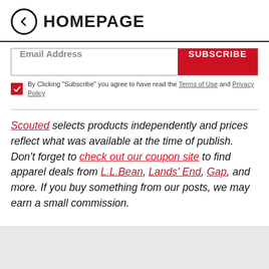HOMEPAGE
Email Address | SUBSCRIBE
By Clicking "Subscribe" you agree to have read the Terms of Use and Privacy Policy
Scouted selects products independently and prices reflect what was available at the time of publish. Don't forget to check out our coupon site to find apparel deals from L.L.Bean, Lands' End, Gap, and more. If you buy something from our posts, we may earn a small commission.